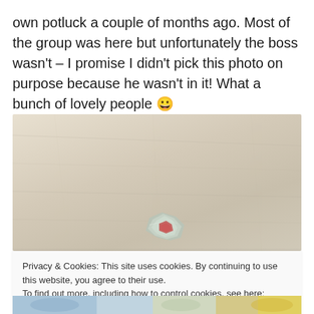own potluck a couple of months ago. Most of the group was here but unfortunately the boss wasn't – I promise I didn't pick this photo on purpose because he wasn't in it! What a bunch of lovely people 😀
[Figure (photo): A top-down photo of a beige/wood-toned table surface with a crumpled piece of foil/wrapper at the bottom center of the frame.]
Privacy & Cookies: This site uses cookies. By continuing to use this website, you agree to their use.
To find out more, including how to control cookies, see here: Cookie Policy
Close and accept
[Figure (photo): Partial bottom strip of another photo showing colorful items on a surface.]